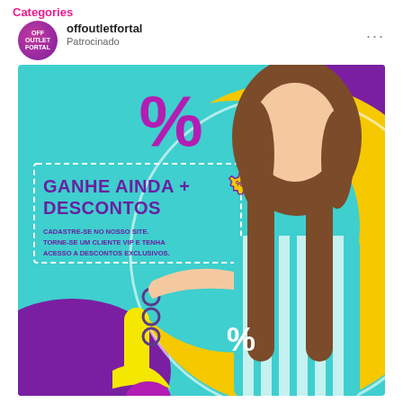Categories
offoutletfortal
Patrocinado
[Figure (photo): Social media advertisement for offoutletfortal featuring a smiling young woman in a striped top against a colorful teal, yellow, and purple background with discount messaging: 'GANHE AINDA + DESCONTOS' and 'CADASTRE-SE NO NOSSO SITE. TORNE-SE UM CLIENTE VIP E TENHA ACESSO A DESCONTOS EXCLUSIVOS.' Large percent signs (%) are visible as decorative elements.]